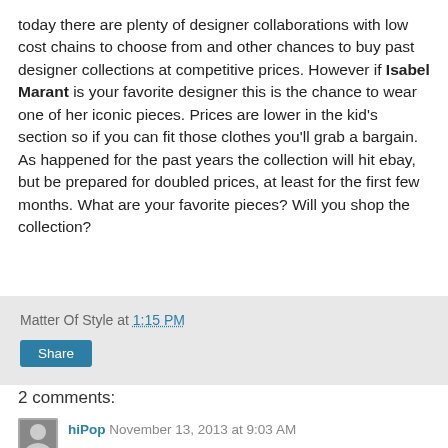today there are plenty of designer collaborations with low cost chains to choose from and other chances to buy past designer collections at competitive prices. However if Isabel Marant is your favorite designer this is the chance to wear one of her iconic pieces. Prices are lower in the kid's section so if you can fit those clothes you'll grab a bargain. As happened for the past years the collection will hit ebay, but be prepared for doubled prices, at least for the first few months. What are your favorite pieces? Will you shop the collection?
Matter Of Style at 1:15 PM
Share
2 comments:
hiPop November 13, 2013 at 9:03 AM